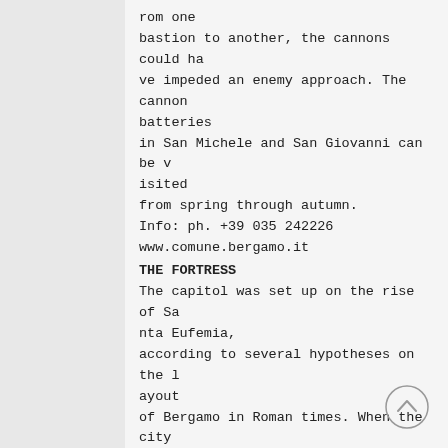rom one bastion to another, the cannons could have impeded an enemy approach. The cannon batteries in San Michele and San Giovanni can be visited from spring through autumn.
Info: ph. +39 035 242226
www.comune.bergamo.it
THE FORTRESS
The capitol was set up on the rise of Santa Eufemia, according to several hypotheses on the layout of Bergamo in Roman times. When the city was handed over to the seigniory, thus ending the free Commune, King John of Bohemia had a fortress built. After the walls were constructed, the fortress was transformed into an arsenal, housed a barracks